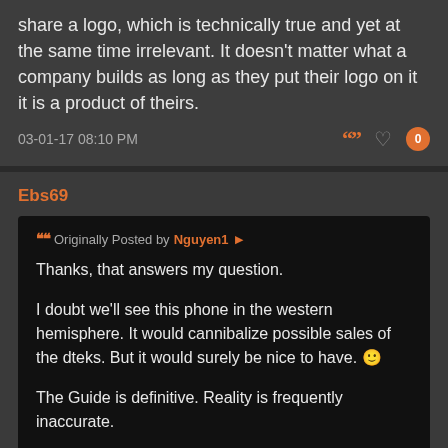share a logo, which is technically true and yet at the same time irrelevant. It doesn't matter what a company builds as long as they put their logo on it it is a product of theirs.
03-01-17 08:10 PM
Ebs69
Originally Posted by Nguyen1
Thanks, that answers my question.

I doubt we'll see this phone in the western hemisphere. It would cannibalize possible sales of the dteks. But it would surely be nice to have. :)

The Guide is definitive. Reality is frequently inaccurate.